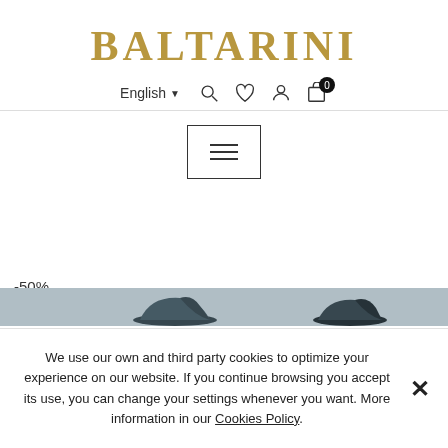BALTARINI
English ▾
[Figure (screenshot): Navigation icons: search (magnifying glass), wishlist (heart), account (person), cart (shopping bag with 0 badge)]
[Figure (screenshot): Hamburger menu button — three horizontal lines in a rectangular border]
-50%
[Figure (photo): Partial view of dark-colored shoes/sandals at the bottom of the page]
We use our own and third party cookies to optimize your experience on our website. If you continue browsing you accept its use, you can change your settings whenever you want. More information in our Cookies Policy.